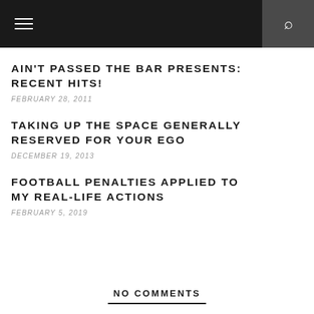Navigation bar with hamburger menu and search icon
AIN'T PASSED THE BAR PRESENTS: RECENT HITS!
FEBRUARY 28, 2011
TAKING UP THE SPACE GENERALLY RESERVED FOR YOUR EGO
DECEMBER 19, 2013
FOOTBALL PENALTIES APPLIED TO MY REAL-LIFE ACTIONS
FEBRUARY 5, 2019
NO COMMENTS